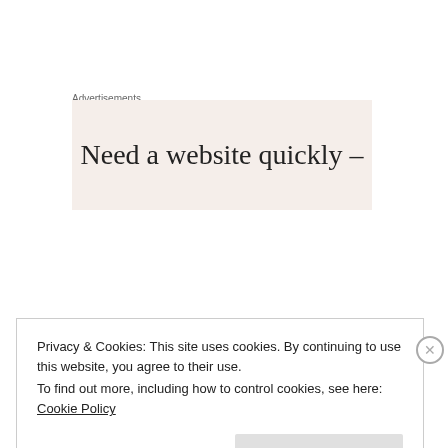Advertisements
[Figure (other): Advertisement banner with text 'Need a website quickly –' on a light beige/pink background]
Mistaken Identity Crisis – #4 (June 2019)
Haunted House Ghost – #5 (October 2019)
Privacy & Cookies: This site uses cookies. By continuing to use this website, you agree to their use.
To find out more, including how to control cookies, see here: Cookie Policy
Close and accept